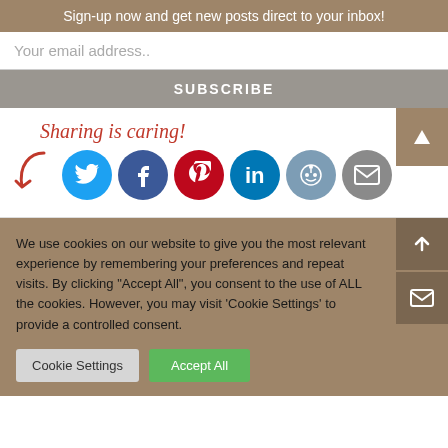Sign-up now and get new posts direct to your inbox!
Your email address..
SUBSCRIBE
[Figure (illustration): Sharing is caring! text with arrow and social media icons: Twitter, Facebook, Pinterest, LinkedIn, Reddit, Email]
We use cookies on our website to give you the most relevant experience by remembering your preferences and repeat visits. By clicking "Accept All", you consent to the use of ALL the cookies. However, you may visit 'Cookie Settings' to provide a controlled consent.
Cookie Settings
Accept All